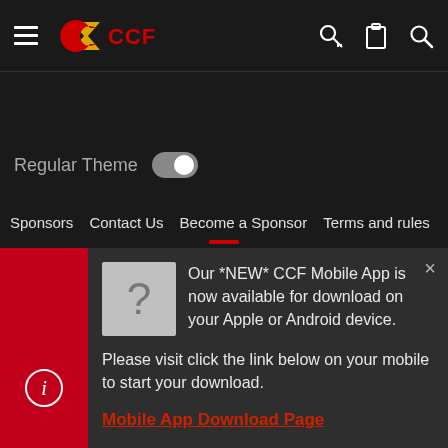[Figure (screenshot): CCF website mobile screenshot showing navigation bar with hamburger menu, CCF logo, key/clipboard/search icons on right]
Regular Theme
Sponsors  Contact Us  Become a Sponsor  Terms and rules
Our *NEW* CCF Mobile App is now available for download on your Apple or Android device.

Please visit click the link below on your mobile to start your download.
Mobile App Download Page